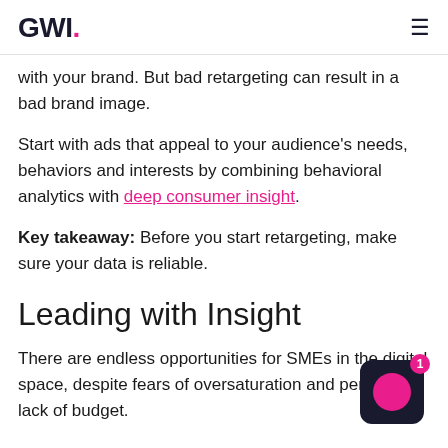GWI.
with your brand. But bad retargeting can result in a bad brand image.
Start with ads that appeal to your audience's needs, behaviors and interests by combining behavioral analytics with deep consumer insight.
Key takeaway: Before you start retargeting, make sure your data is reliable.
Leading with Insight
There are endless opportunities for SMEs in the digital space, despite fears of oversaturation and perceived lack of budget.